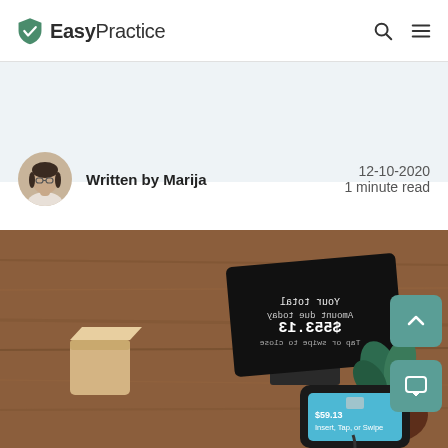EasyPractice
Written by Marija
12-10-2020
1 minute read
[Figure (photo): A payment terminal/card reader on a wooden table surface showing '$59.13 Insert, Tap, or Swipe' on screen, photographed from above alongside a wooden block and a plant in a dark bowl]